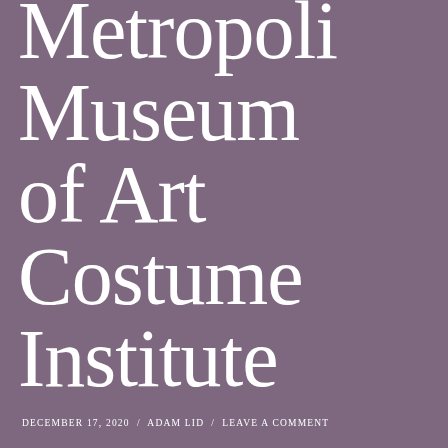Metropolitan Museum of Art Costume Institute
DECEMBER 17, 2020 / ADAM LID / LEAVE A COMMENT